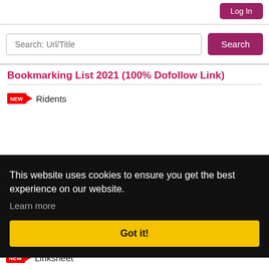Log In
[Figure (screenshot): Search bar with placeholder 'Search: Url/Title' and a purple 'Search' button]
Bookmarking List 2021 (100% Dofollow Link)
Ridents
This website uses cookies to ensure you get the best experience on our website. Learn more
Got it!
Linksheet